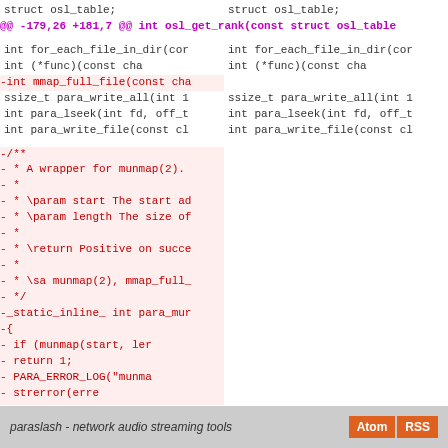[Figure (screenshot): Code diff view showing two-column split diff of C source code. Left column shows removed lines (in red/pink), right column shows context. Hunk header in purple. Removed block includes a Doxygen comment block and static inline function para_munmap. Footer bar with site name and Atom/RSS buttons.]
paraslash - network audio streaming tools  Atom  RSS